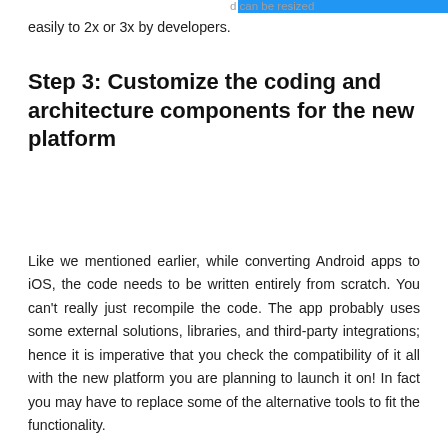d can be resized
easily to 2x or 3x by developers.
Step 3: Customize the coding and architecture components for the new platform
Like we mentioned earlier, while converting Android apps to iOS, the code needs to be written entirely from scratch. You can’t really just recompile the code. The app probably uses some external solutions, libraries, and third-party integrations; hence it is imperative that you check the compatibility of it all with the new platform you are planning to launch it on! In fact you may have to replace some of the alternative tools to fit the functionality.